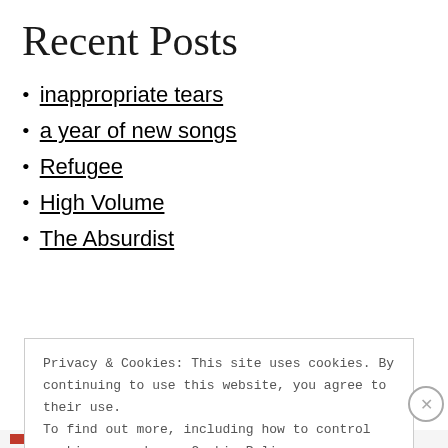Recent Posts
inappropriate tears
a year of new songs
Refugee
High Volume
The Absurdist
Privacy & Cookies: This site uses cookies. By continuing to use this website, you agree to their use. To find out more, including how to control cookies, see here: Cookie Policy
Close and accept